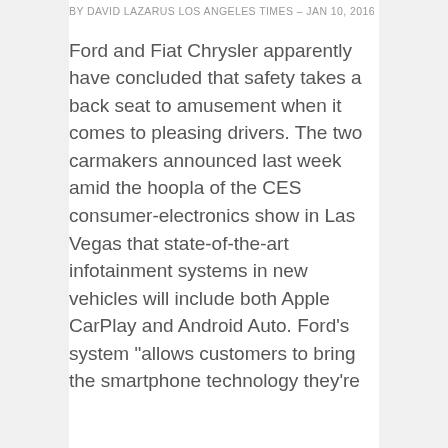BY DAVID LAZARUS LOS ANGELES TIMES - JAN 10, 2016
Ford and Fiat Chrysler apparently have concluded that safety takes a back seat to amusement when it comes to pleasing drivers. The two carmakers announced last week amid the hoopla of the CES consumer-electronics show in Las Vegas that state-of-the-art infotainment systems in new vehicles will include both Apple CarPlay and Android Auto. Ford's system “allows customers to bring the smartphone technology they're